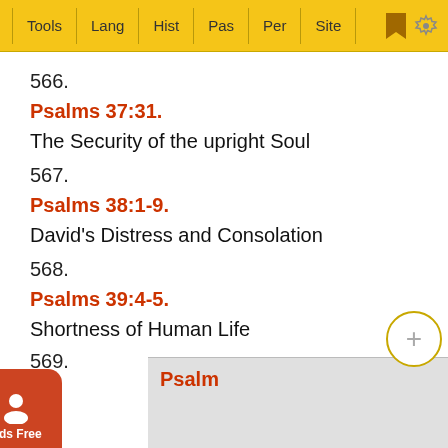Tools | Lang | Hist | Pas | Per | Site
566.
Psalms 37:31.
The Security of the upright Soul
567.
Psalms 38:1-9.
David's Distress and Consolation
568.
Psalms 39:4-5.
Shortness of Human Life
569.
Psalm